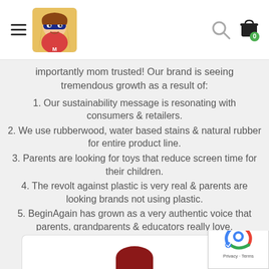Navigation header with hamburger menu, logo, search icon, and cart icon (badge: 0)
importantly mom trusted! Our brand is seeing tremendous growth as a result of:
1. Our sustainability message is resonating with consumers & retailers.
2. We use rubberwood, water based stains & natural rubber for entire product line.
3. Parents are looking for toys that reduce screen time for their children.
4. The revolt against plastic is very real & parents are looking brands not using plastic.
5. BeginAgain has grown as a very authentic voice that parents, grandparents & educators really love.
[Figure (screenshot): Bottom portion of page with a dark red circular element partially visible at the bottom center, and a reCAPTCHA privacy badge in the bottom right corner.]